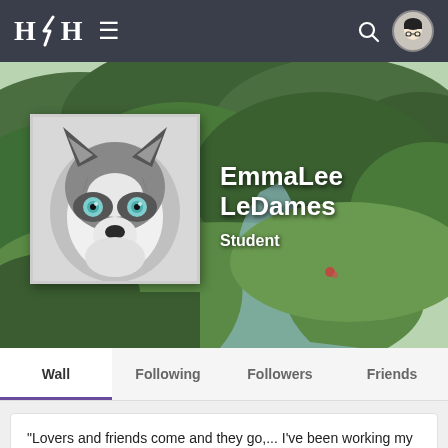H⚡H ≡
[Figure (screenshot): User profile page banner with landscape background (green forested hills and river valley) and a wolf/husky avatar photo in black and white with blue eyes]
EmmaLee LeDames
Student
Wall
Following
Followers
Friends
"Lovers and friends come and they go,... I've been working my hands down to the bone, where you